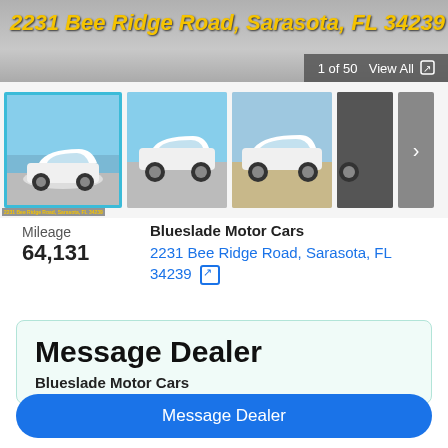[Figure (screenshot): Car listing banner image with address overlay showing a white convertible sports car, with gray background. Shows '2231 Bee Ridge Road, Sarasota, FL 34239' in yellow bold italic text. Bottom-right shows '1 of 50  View All' on dark gray background.]
[Figure (screenshot): Thumbnail strip showing 4 photos of a white Chrysler Crossfire convertible from different angles. First thumbnail is selected (teal border). A gray next arrow button is on the right.]
Mileage
64,131
Blueslade Motor Cars
2231 Bee Ridge Road, Sarasota, FL 34239
Message Dealer
Blueslade Motor Cars
Message Dealer